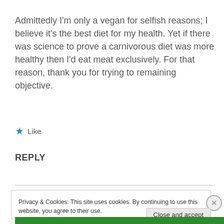Admittedly I'm only a vegan for selfish reasons; I believe it's the best diet for my health. Yet if there was science to prove a carnivorous diet was more healthy then I'd eat meat exclusively. For that reason, thank you for trying to remaining objective.
★ Like
REPLY
Privacy & Cookies: This site uses cookies. By continuing to use this website, you agree to their use. To find out more, including how to control cookies, see here: Cookie Policy
Close and accept